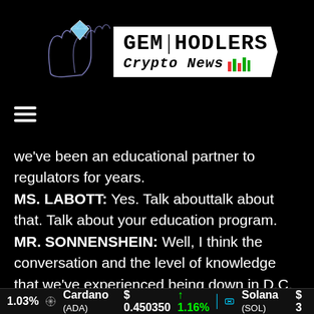[Figure (logo): Gem Hodlers Crypto News logo with hands holding a diamond and a white pennant shape containing the text GEM HODLERS Crypto News with trading chart icons]
[Figure (other): Hamburger menu icon (three horizontal lines)]
we've been an educational partner to regulators for years. MS. LABOTT: Yes. Talk abouttalk about that. Talk about your education program. MR. SONNENSHEIN: Well, I think the conversation and the level of knowledge that we've experienced being down in D.C. over the last few years has really evolved, right? We went from having to spend a lot of time educating about the fundamentals of this asset class to today having really informed conversations about protocols, about developments within the
1.03%  Cardano (ADA)  $0.450350  ↑1.16%  Solana (SOL)  $3